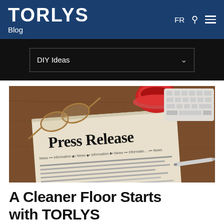TORLYS Blog
DIY Ideas
[Figure (photo): A press release document on a wooden desk, surrounded by glasses, a red coffee cup and saucer, a keyboard, and a pen. The document is headed 'Press Release' with smaller text reading 'News ... Information ... News ... Information ... News ... Information ... News'.]
A Cleaner Floor Starts with TORLYS